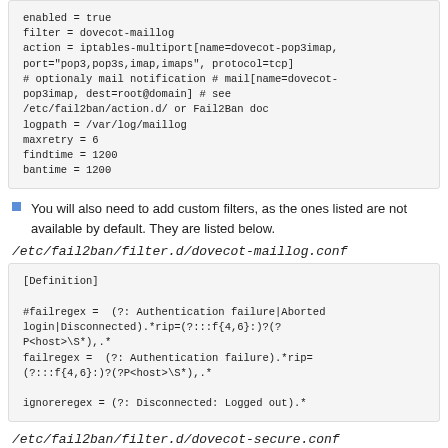enabled = true
filter = dovecot-maillog
action = iptables-multiport[name=dovecot-pop3imap,
port="pop3,pop3s,imap,imaps", protocol=tcp]
# optionaly mail notification # mail[name=dovecot-
pop3imap, dest=root@domain] # see
/etc/fail2ban/action.d/ or Fail2Ban doc
logpath = /var/log/maillog
maxretry = 6
findtime = 1200
bantime = 1200
You will also need to add custom filters, as the ones listed are not available by default. They are listed below.
/etc/fail2ban/filter.d/dovecot-maillog.conf
[Definition]

#failregex =  (?: Authentication failure|Aborted
login|Disconnected).*rip=(?:::f{4,6}:)?(?P<host>\S*),.*
failregex =  (?: Authentication failure).*rip=
(?:::f{4,6}:)?(?P<host>\S*),.*

ignoreregex = (?: Disconnected: Logged out).*
/etc/fail2ban/filter.d/dovecot-secure.conf